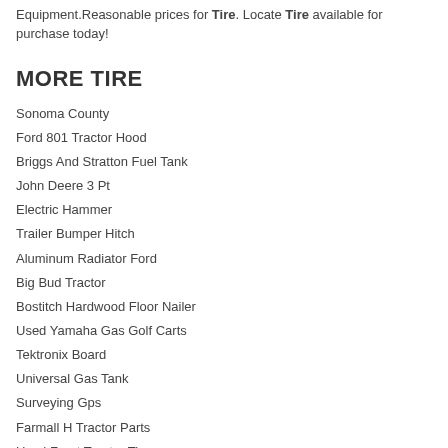Equipment.Reasonable prices for Tire. Locate Tire available for purchase today!
MORE TIRE
Sonoma County
Ford 801 Tractor Hood
Briggs And Stratton Fuel Tank
John Deere 3 Pt
Electric Hammer
Trailer Bumper Hitch
Aluminum Radiator Ford
Big Bud Tractor
Bostitch Hardwood Floor Nailer
Used Yamaha Gas Golf Carts
Tektronix Board
Universal Gas Tank
Surveying Gps
Farmall H Tractor Parts
Used Front Tractor Tire
3294 Case Tractor Parts